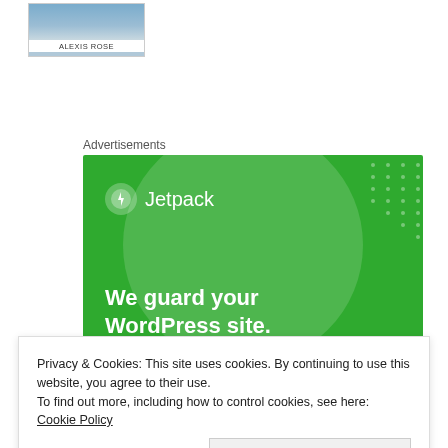[Figure (photo): Author thumbnail photo with text 'ALEXIS ROSE' below]
Advertisements
[Figure (illustration): Jetpack advertisement banner on green background. Logo with lightning bolt icon and 'Jetpack' text. Tagline: 'We guard your WordPress site. You run your business.']
Privacy & Cookies: This site uses cookies. By continuing to use this website, you agree to their use.
To find out more, including how to control cookies, see here: Cookie Policy
Close and accept